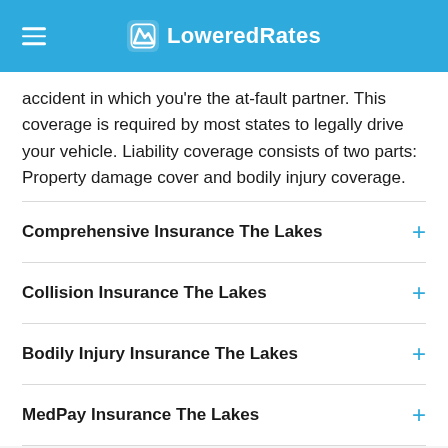LoweredRates
accident in which you're the at-fault partner. This coverage is required by most states to legally drive your vehicle. Liability coverage consists of two parts: Property damage cover and bodily injury coverage.
Comprehensive Insurance The Lakes
Collision Insurance The Lakes
Bodily Injury Insurance The Lakes
MedPay Insurance The Lakes